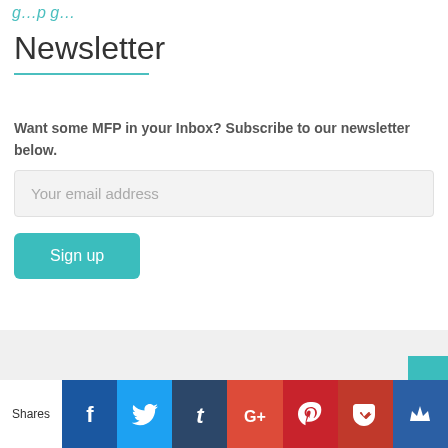…logo/page top…
Newsletter
Want some MFP in your Inbox? Subscribe to our newsletter below.
[Figure (other): Email input field with placeholder 'Your email address' and a teal 'Sign up' button]
Shares | Facebook | Twitter | Tumblr | Google+ | Pinterest | Pocket | King